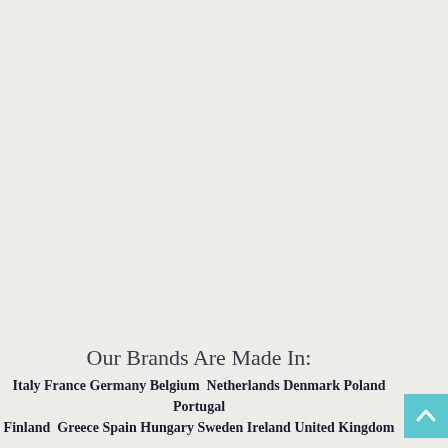Our Brands Are Made In:
Italy France Germany Belgium  Netherlands Denmark Poland Portugal Finland  Greece Spain Hungary Sweden Ireland United Kingdom